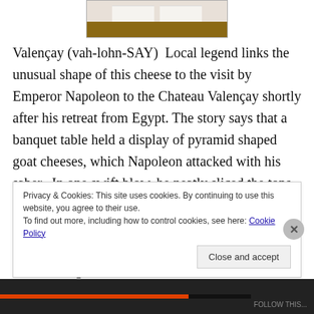[Figure (photo): Photo of Valencay cheese pieces on a wooden board, white cheese visible from above]
Valençay (vah-lohn-SAY)  Local legend links the unusual shape of this cheese to the visit by Emperor Napoleon to the Chateau Valençay shortly after his retreat from Egypt. The story says that a banquet table held a display of pyramid shaped goat cheeses, which Napoleon attacked with his saber.  In one swift blow, he neatly sliced the tops off of the cheeses and created the shape which has defined this cheese ever since.    The rind of this cheese is dusted in ashes soon after being formed.  This dusting and
Privacy & Cookies: This site uses cookies. By continuing to use this website, you agree to their use.
To find out more, including how to control cookies, see here: Cookie Policy
Close and accept